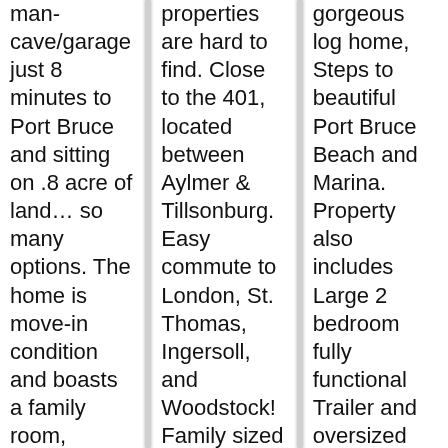man-cave/garage just 8 minutes to Port Bruce and sitting on .8 acre of land… so many options. The home is move-in condition and boasts a family room, kitchen, living room, 2 bedrooms, and bathroom above
properties are hard to find. Close to the 401, located between Aylmer & Tillsonburg. Easy commute to London, St. Thomas, Ingersoll, and Woodstock! Family sized home with many updates over the last 2
gorgeous log home, Steps to beautiful Port Bruce Beach and Marina. Property also includes Large 2 bedroom fully functional Trailer and oversized Triple Detached Workshop/garage, with commercial hoist. 2